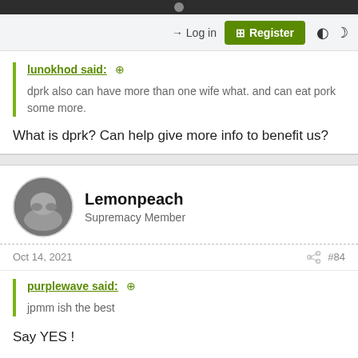Login | Register
lunokhod said: dprk also can have more than one wife what. and can eat pork some more.
What is dprk? Can help give more info to benefit us?
Lemonpeach
Supremacy Member
Oct 14, 2021  #84
purplewave said: jpmm ish the best
Say YES !